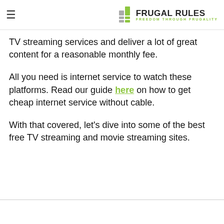FRUGAL RULES — FREEDOM THROUGH FRUGALITY
TV streaming services and deliver a lot of great content for a reasonable monthly fee.
All you need is internet service to watch these platforms. Read our guide here on how to get cheap internet service without cable.
With that covered, let's dive into some of the best free TV streaming and movie streaming sites.